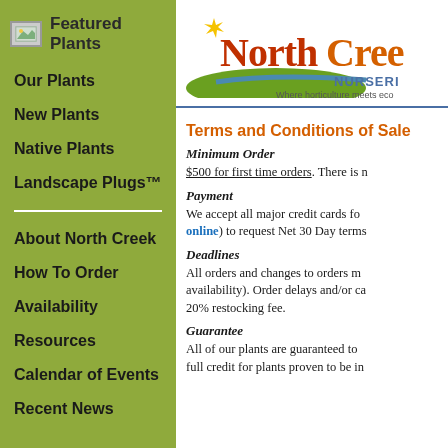Featured Plants
Our Plants
New Plants
Native Plants
Landscape Plugs™
About North Creek
How To Order
Availability
Resources
Calendar of Events
Recent News
[Figure (logo): NorthCreek Nurseries logo with sun star, orange and red text, green hill and blue swoosh. Tagline: Where horticulture meets eco]
Terms and Conditions of Sale
Minimum Order
$500 for first time orders. There is n
Payment
We accept all major credit cards fo online) to request Net 30 Day terms
Deadlines
All orders and changes to orders m availability). Order delays and/or ca 20% restocking fee.
Guarantee
All of our plants are guaranteed to full credit for plants proven to be in